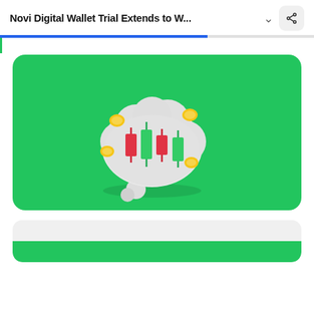Novi Digital Wallet Trial Extends to W...
[Figure (illustration): 3D illustration of a thought bubble cloud shape on a green background, containing candlestick chart candles (red and green) with gold coins scattered around it. The thought bubble has two smaller circles beneath it suggesting a thinking/dreaming motif related to trading/investing.]
[Figure (illustration): Partially visible second article thumbnail image with green background at the bottom of the page.]